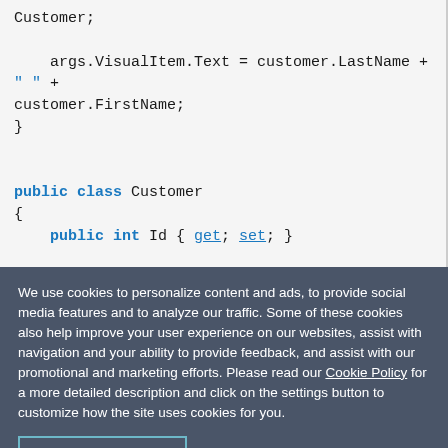Customer;
    args.VisualItem.Text = customer.LastName + " " +
customer.FirstName;
}

public class Customer
{
    public int Id { get; set; }

    public string LastName { get; set; }
We use cookies to personalize content and ads, to provide social media features and to analyze our traffic. Some of these cookies also help improve your user experience on our websites, assist with navigation and your ability to provide feedback, and assist with our promotional and marketing efforts. Please read our Cookie Policy for a more detailed description and click on the settings button to customize how the site uses cookies for you.
ACCEPT COOKIES   COOKIES SETTINGS